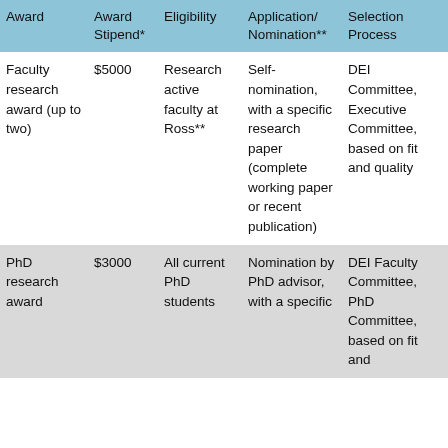| Award | Award Stipend* | Eligibility | Application/ Nomination** | Selection Process |
| --- | --- | --- | --- | --- |
| Faculty research award (up to two) | $5000 | Research active faculty at Ross** | Self-nomination, with a specific research paper (complete working paper or recent publication) | DEI Committee, Executive Committee, based on fit and quality |
| PhD research award | $3000 | All current PhD students | Nomination by PhD advisor, with a specific | DEI Faculty Committee, PhD Committee, based on fit and |